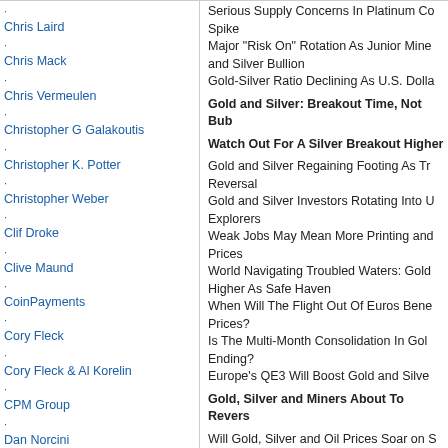Chris Laird
Chris Mack
Chris Vermeulen
Christopher G Galakoutis
Christopher K. Potter
Christopher Weber
Clif Droke
Clive Maund
CoinPayments
Cory Fleck
Cory Fleck & Al Korelin
CPM Group
Dan Norcini
Dan Stinson
Darryl Robert Schoon
David Banister
David Bensimon
David Bond
David Erfle
David Forest
David Galland
David Levenstein
David Morgan
David Morgan - audio
David Nichols
David Petch
David Vaughn
DeCarley Trading
Dian L. Chu
Dimitri Speck
Doug Dillon
Douglas Gnazzo
Dr. Atif Khan, Ph.D.
Dr. Jeffrey Lewis
Dudley Pierce Baker
Serious Supply Concerns In Platinum Could Cause A Spike
Major "Risk On" Rotation As Junior Miners and Silver Bullion
Gold-Silver Ratio Declining As U.S. Dolla
Gold and Silver: Breakout Time, Not Bub
Watch Out For A Silver Breakout Higher
Gold and Silver Regaining Footing As Tr Reversal
Gold and Silver Investors Rotating Into U Explorers
Weak Jobs May Mean More Printing and Prices
World Navigating Troubled Waters: Gold Higher As Safe Haven
When Will The Flight Out Of Euros Bene Prices?
Is The Multi-Month Consolidation In Gol Ending?
Europe's QE3 Will Boost Gold and Silve
Gold, Silver and Miners About To Revers
Will Gold, Silver and Oil Prices Soar on S Middle East?
This Trading Method Is About to Signal A and Silver
Jeff Berwick
Silver Action a Reminder of the Risks of